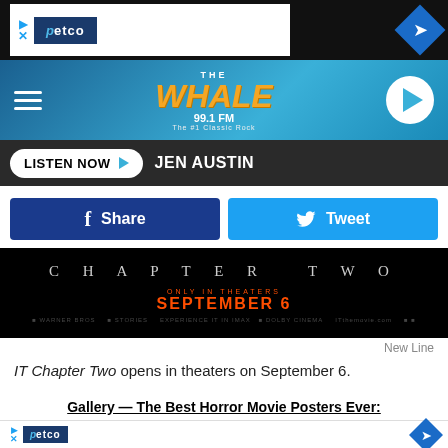[Figure (screenshot): Petco advertisement banner at top of page with Petco logo on dark background]
[Figure (screenshot): The Whale 99.1 FM radio station header with orange whale logo and play button]
LISTEN NOW  JEN AUSTIN
[Figure (screenshot): Facebook Share and Twitter Tweet social media buttons]
[Figure (screenshot): IT Chapter Two movie banner - Only in Theaters September 6, Experience it in IMAX and Dolby Cinema]
New Line
IT Chapter Two opens in theaters on September 6.
Gallery — The Best Horror Movie Posters Ever:
[Figure (screenshot): Petco advertisement banner at bottom of page]